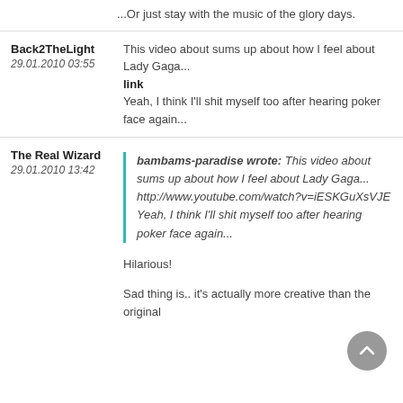...Or just stay with the music of the glory days.
Back2TheLight
29.01.2010 03:55
This video about sums up about how I feel about Lady Gaga...
link
Yeah, I think I'll shit myself too after hearing poker face again...
The Real Wizard
29.01.2010 13:42
bambams-paradise wrote: This video about sums up about how I feel about Lady Gaga... http://www.youtube.com/watch?v=iESKGuXsVJE Yeah, I think I'll shit myself too after hearing poker face again...
Hilarious!
Sad thing is.. it's actually more creative than the original